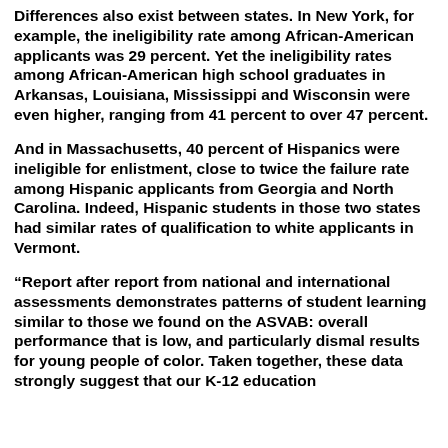Differences also exist between states. In New York, for example, the ineligibility rate among African-American applicants was 29 percent. Yet the ineligibility rates among African-American high school graduates in Arkansas, Louisiana, Mississippi and Wisconsin were even higher, ranging from 41 percent to over 47 percent.
And in Massachusetts, 40 percent of Hispanics were ineligible for enlistment, close to twice the failure rate among Hispanic applicants from Georgia and North Carolina. Indeed, Hispanic students in those two states had similar rates of qualification to white applicants in Vermont.
“Report after report from national and international assessments demonstrates patterns of student learning similar to those we found on the ASVAB: overall performance that is low, and particularly dismal results for young people of color. Taken together, these data strongly suggest that our K-12 education